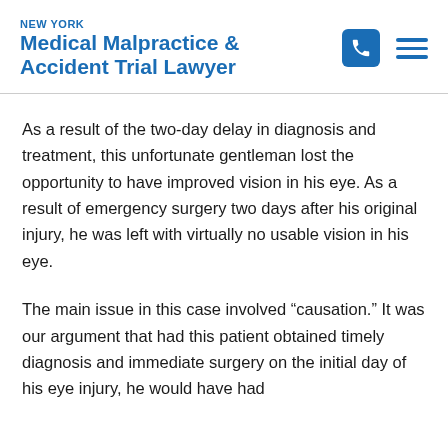NEW YORK Medical Malpractice & Accident Trial Lawyer
As a result of the two-day delay in diagnosis and treatment, this unfortunate gentleman lost the opportunity to have improved vision in his eye. As a result of emergency surgery two days after his original injury, he was left with virtually no usable vision in his eye.
The main issue in this case involved “causation.” It was our argument that had this patient obtained timely diagnosis and immediate surgery on the initial day of his eye injury, he would have had